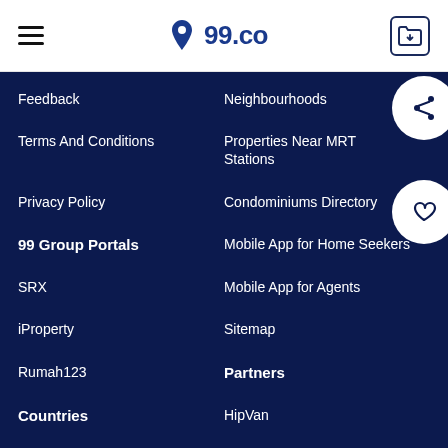99.co
Feedback
Neighbourhoods
Terms And Conditions
Properties Near MRT Stations
Privacy Policy
Condominiums Directory
99 Group Portals
Mobile App for Home Seekers
SRX
Mobile App for Agents
iProperty
Sitemap
Rumah123
Partners
Countries
HipVan